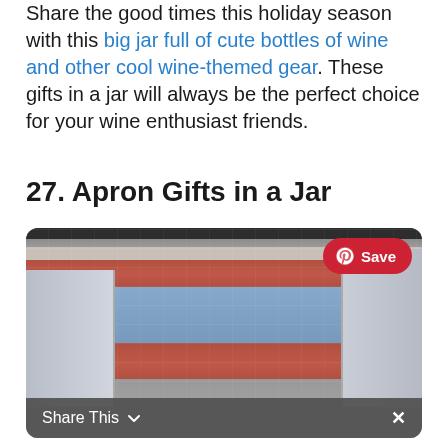Share the good times this holiday season with this big jar full of cute bottles of wine and other cool wine-themed gear. These gifts in a jar will always be the perfect choice for your wine enthusiast friends.
27. Apron Gifts in a Jar
[Figure (photo): Person wearing a colorful blue apron with a red waistband, standing in a kitchen. A red Pinterest Save button is visible in the top right of the image. A share bar is at the bottom of the image.]